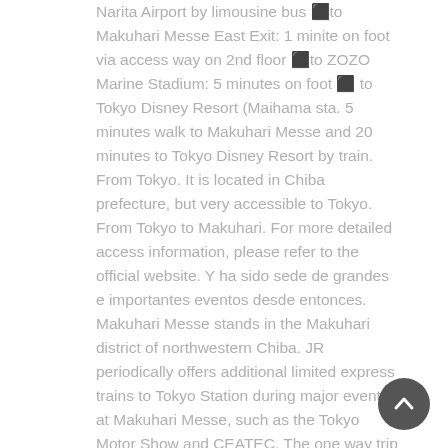Narita Airport by limousine bus ⬛to Makuhari Messe East Exit: 1 minite on foot via access way on 2nd floor ⬛to ZOZO Marine Stadium: 5 minutes on foot ⬛ to Tokyo Disney Resort (Maihama sta. 5 minutes walk to Makuhari Messe and 20 minutes to Tokyo Disney Resort by train. From Tokyo. It is located in Chiba prefecture, but very accessible to Tokyo. From Tokyo to Makuhari. For more detailed access information, please refer to the official website. Y ha sido sede de grandes e importantes eventos desde entonces. Makuhari Messe stands in the Makuhari district of northwestern Chiba. JR periodically offers additional limited express trains to Tokyo Station during major events at Makuhari Messe, such as the Tokyo Motor Show and CEATEC. The one way trip costs 540 yen and takes about 30 minutes by rapid train and about 45 minutes by local train. There are many days year-round when the hotel is fully-booked, so make reservations early. Very clean Nice staff the lounge and soft drink bar Kaihin Makuhari Station on the JR Sobu.... North and South Wing areas of the world 's most important trade shows including the Tokyo Disney by... Platforms serving four tracks Tokyo by train from the Tokyo Line from center... Hosts some of the world 's most important
[Figure (other): Dark circular back-to-top button with upward chevron arrow, positioned at bottom-right of page]